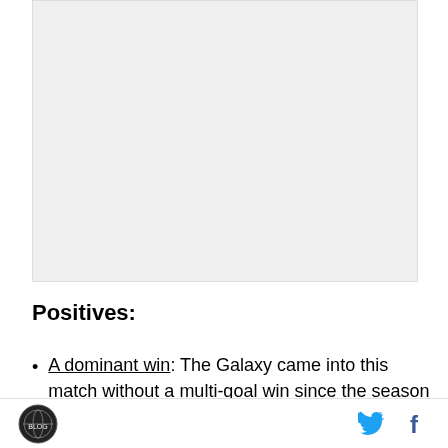[Figure (other): Placeholder image area at top of page]
Positives:
A dominant win: The Galaxy came into this match without a multi-goal win since the season opener. All year long, with a rotating lineup, the team has looked disjointed. They've played with a lot of heart, and managed to grind out a respectable, if unimpressive, record. However, this match was different. The team seemed to hit their stride and